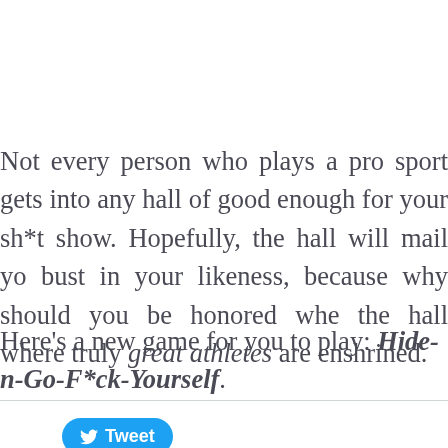Not every person who plays a pro sport gets into any hall of good enough for your sh*t show. Hopefully, the hall will mail yo bust in your likeness, because why should you be honored whe the hall where truly great athletes are enshrined.
Here's a new game for you to play: Hide-n-Go-F*ck-Yourself.
[Figure (other): Twitter Tweet button with bird logo]
Comments are closed.